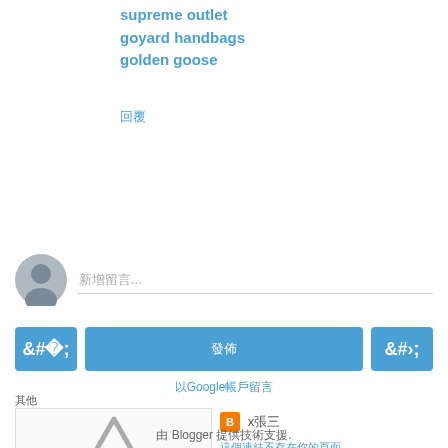supreme outlet
goyard handbags
golden goose
回覆
[Figure (other): User avatar circle placeholder icon (grey person silhouette)]
新增留言...
‹
發佈
›
以Google帳戶留言
其他
[Figure (illustration): Warning triangle with exclamation mark placeholder image]
x張三
這個連結不存在你的頁面
由 Blogger 提供技術支援.